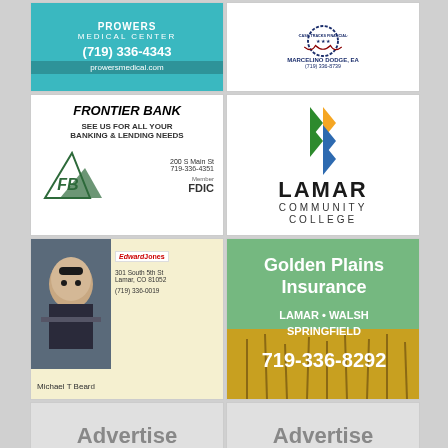[Figure (logo): Prowers Medical Center ad with phone (719) 336-4343 and website prowersmedical.com on teal background]
[Figure (logo): Cash Tracks Financial / Marcelino Dodge EA ad with phone (719) 336-8739]
[Figure (logo): Frontier Bank ad - SEE US FOR ALL YOUR BANKING & LENDING NEEDS, 200 S Main St, 719-336-4351, Member FDIC]
[Figure (logo): Lamar Community College logo]
[Figure (logo): Edward Jones - Michael T Beard, 301 South 5th St, Lamar CO 81052, (719) 336-0019]
[Figure (logo): Golden Plains Insurance - Lamar, Walsh, Springfield - 719-336-8292]
[Figure (other): Advertise Here placeholder box (left)]
[Figure (other): Advertise Here placeholder box (right)]